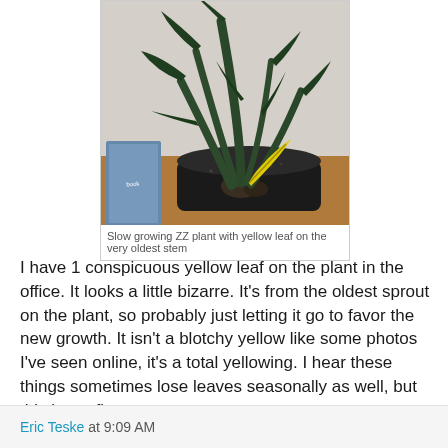[Figure (photo): A ZZ plant in a black pot on a wooden surface, with dark green leaves and one prominent yellow leaf on the oldest stem. A book or magazine is partially visible in the background.]
Slow growing ZZ plant with yellow leaf on the very oldest stem
I have 1 conspicuous yellow leaf on the plant in the office. It looks a little bizarre. It's from the oldest sprout on the plant, so probably just letting it go to favor the new growth. It isn't a blotchy yellow like some photos I've seen online, it's a total yellowing. I hear these things sometimes lose leaves seasonally as well, but this is my first one.
Eric Teske at 9:09 AM